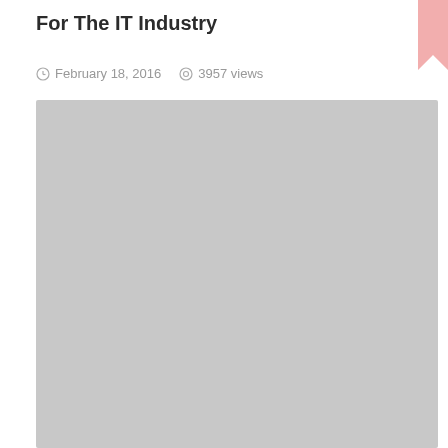For The IT Industry
February 18, 2016  3957 views
[Figure (photo): Large gray placeholder image filling most of the page below the title and metadata]